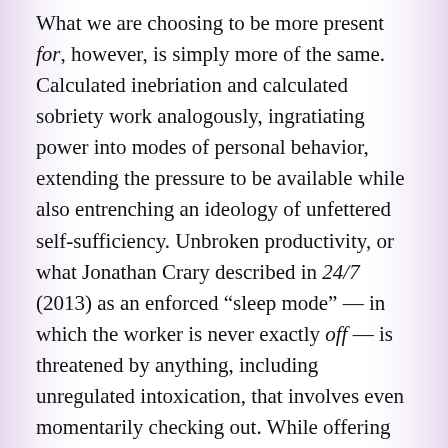What we are choosing to be more present for, however, is simply more of the same. Calculated inebriation and calculated sobriety work analogously, ingratiating power into modes of personal behavior, extending the pressure to be available while also entrenching an ideology of unfettered self-sufficiency. Unbroken productivity, or what Jonathan Crary described in 24/7 (2013) as an enforced “sleep mode” — in which the worker is never exactly off — is threatened by anything, including unregulated intoxication, that involves even momentarily checking out. While offering undeniable health benefits, it seems to me that the discourse of